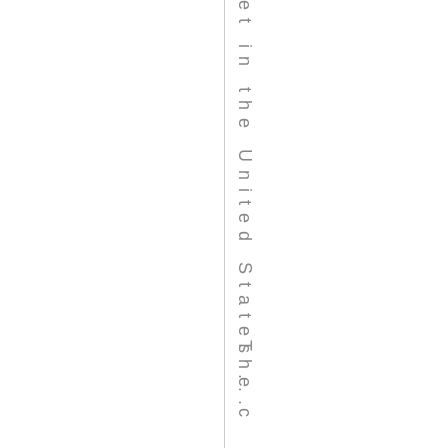et in the United States ...
The c